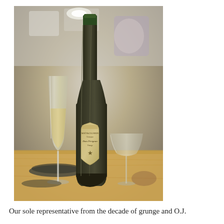[Figure (photo): A vintage bottle of Dom Pérignon Champagne with a dark, aged label featuring a shield crest and star, sitting on a wooden surface next to a tall flute glass filled with pale golden champagne on the left and an empty wide champagne coupe glass on the right, with a blurred restaurant kitchen background.]
Our sole representative from the decade of grunge and O.J.